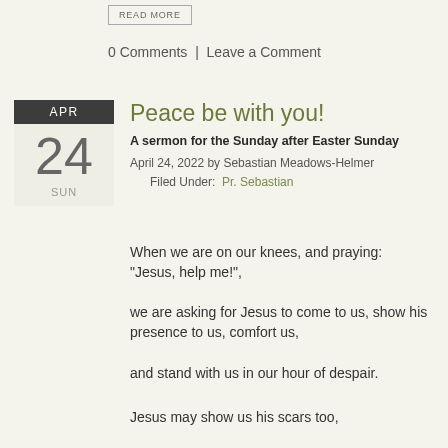READ MORE
0 Comments  |  Leave a Comment
Peace be with you!
A sermon for the Sunday after Easter Sunday
April 24, 2022 by Sebastian Meadows-Helmer
Filed Under:  Pr. Sebastian
When we are on our knees, and praying: “Jesus, help me!”,
we are asking for Jesus to come to us, show his presence to us, comfort us,
and stand with us in our hour of despair.
Jesus may show us his scars too,